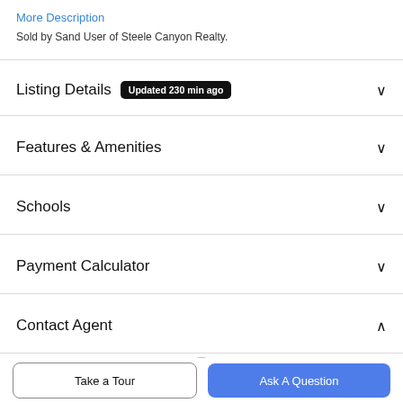More Description
Sold by Sand User of Steele Canyon Realty.
Listing Details  Updated 230 min ago
Features & Amenities
Schools
Payment Calculator
Contact Agent
[Figure (photo): Partial avatar/profile photo circle at bottom of contact agent section]
Take a Tour
Ask A Question